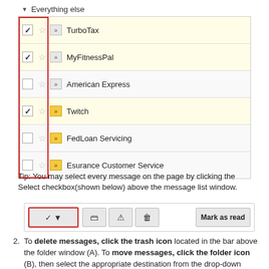[Figure (screenshot): Gmail-like email list showing 'Everything else' section with rows for TurboTax (checked, yellow), MyFitnessPal (checked, yellow), American Express (unchecked, white), Twitch (checked, yellow), FedLoan Servicing (unchecked, white), Esurance Customer Service (unchecked, white). Checkboxes column highlighted with red border.]
Tip: You may select every message on the page by clicking the Select checkbox(shown below) above the message list window.
[Figure (screenshot): Gmail toolbar showing: checkbox button with dropdown (red border highlight), archive icon, report icon, trash icon, and 'Mark as read' button.]
2. To delete messages, click the trash icon located in the bar above the folder window (A). To move messages, click the folder icon (B), then select the appropriate destination from the drop-down menu that appears.